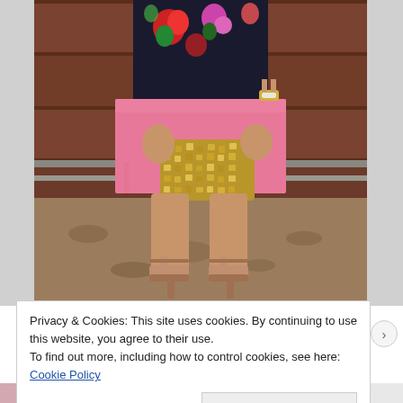[Figure (photo): A woman wearing a dark floral top, pink mini skirt, gold sequin clutch bag, gold watch, and nude strappy heels, standing in front of wooden bench slats. Only the torso and legs are visible.]
Privacy & Cookies: This site uses cookies. By continuing to use this website, you agree to their use.
To find out more, including how to control cookies, see here: Cookie Policy
Close and accept